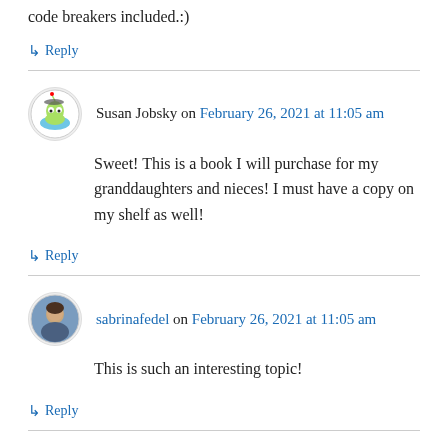code breakers included.:)
↳ Reply
Susan Jobsky on February 26, 2021 at 11:05 am
Sweet! This is a book I will purchase for my granddaughters and nieces! I must have a copy on my shelf as well!
↳ Reply
sabrinafedel on February 26, 2021 at 11:05 am
This is such an interesting topic!
↳ Reply